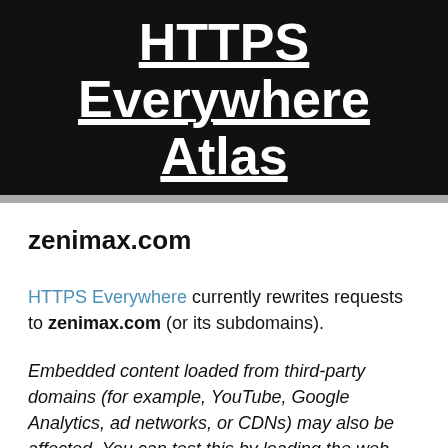HTTPS Everywhere Atlas
zenimax.com
HTTPS Everywhere currently rewrites requests to zenimax.com (or its subdomains).
Embedded content loaded from third-party domains (for example, YouTube, Google Analytics, ad networks, or CDNs) may also be affected. You can test this by loading the web page in question in a browser with HTTPS Everywhere installed and pulling down the